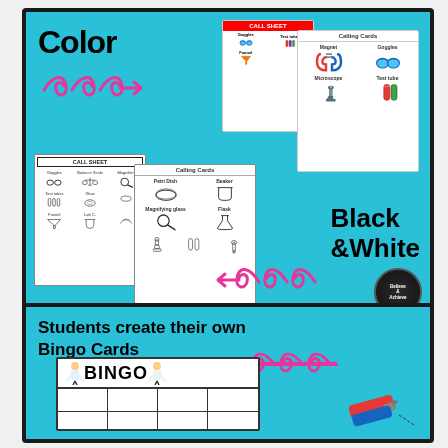[Figure (illustration): Educational product preview showing Color and Black & White versions of a science lab equipment Bingo game. Top panel on cyan background shows 'Color' label with pink swirl arrow, mini call sheet with colored science images, and calling cards with colored science equipment images (goggles, test tube, magnet, microscope, funnel, beaker, erlenmeyer flask). Middle section shows Black & White versions of the same call sheet and calling cards. Bottom panel shows 'Students create their own Bingo Cards' text with pink swirl, and a preview of a BINGO card template with scientist clip art and a marker.]